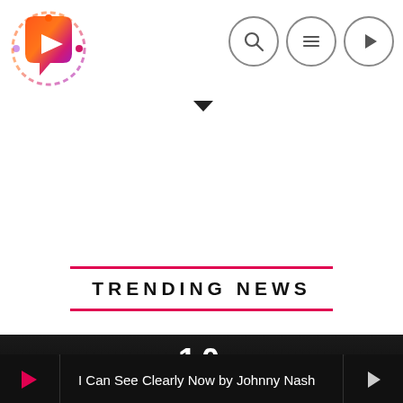[Figure (logo): Circular logo with gradient colors (red, orange, purple) showing a speech bubble with a play button arrow, with dotted orbit rings around it]
[Figure (other): Three circular icon buttons: search (magnifying glass), menu (hamburger lines), and play (triangle arrow) — outlined circles with dark icons]
TRENDING NEWS
[Figure (photo): Dark/black photo showing the number 10 (Downing Street) in white numerals on a dark door/background, with a partial silhouette at the bottom]
I Can See Clearly Now by Johnny Nash